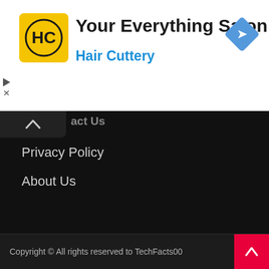[Figure (infographic): Advertisement banner for Hair Cuttery - Your Everything Salon. Shows HC logo on yellow background, navigation diamond icon on right.]
Your Everything Salon
Hair Cuttery
act Us
Privacy Policy
About Us
ADVERTISEMENT
Copyright © All rights reserved to TechFacts00